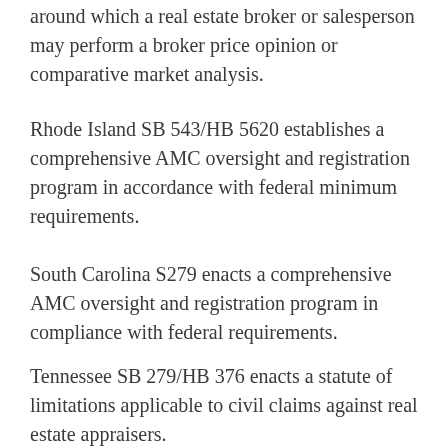around which a real estate broker or salesperson may perform a broker price opinion or comparative market analysis.
Rhode Island SB 543/HB 5620 establishes a comprehensive AMC oversight and registration program in accordance with federal minimum requirements.
South Carolina S279 enacts a comprehensive AMC oversight and registration program in compliance with federal requirements.
Tennessee SB 279/HB 376 enacts a statute of limitations applicable to civil claims against real estate appraisers.